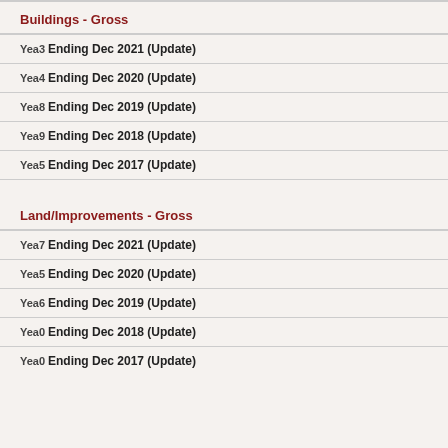Buildings - Gross
Year 3 Ending Dec 2021 (Update)
Year 4 Ending Dec 2020 (Update)
Year 8 Ending Dec 2019 (Update)
Year 9 Ending Dec 2018 (Update)
Year 5 Ending Dec 2017 (Update)
Land/Improvements - Gross
Year 7 Ending Dec 2021 (Update)
Year 5 Ending Dec 2020 (Update)
Year 6 Ending Dec 2019 (Update)
Year 0 Ending Dec 2018 (Update)
Year 0 Ending Dec 2017 (Update)